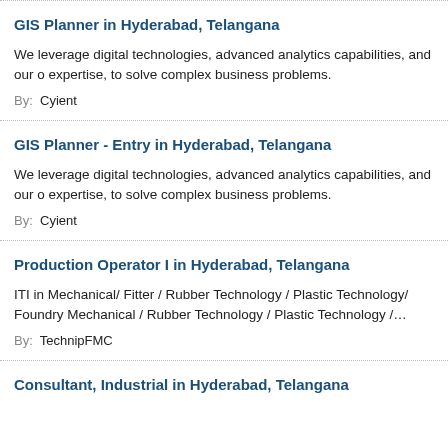GIS Planner in Hyderabad, Telangana
We leverage digital technologies, advanced analytics capabilities, and our o expertise, to solve complex business problems.
By: Cyient
GIS Planner - Entry in Hyderabad, Telangana
We leverage digital technologies, advanced analytics capabilities, and our o expertise, to solve complex business problems.
By: Cyient
Production Operator I in Hyderabad, Telangana
ITI in Mechanical/ Fitter / Rubber Technology / Plastic Technology/ Foundry Mechanical / Rubber Technology / Plastic Technology /…
By: TechnipFMC
Consultant, Industrial in Hyderabad, Telangana